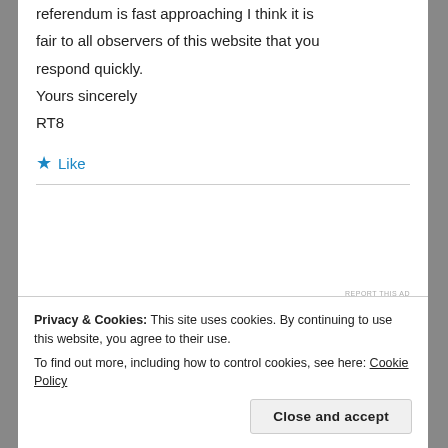referendum is fast approaching I think it is fair to all observers of this website that you respond quickly.
Yours sincerely
RT8
Like
REPORT THIS AD
Privacy & Cookies: This site uses cookies. By continuing to use this website, you agree to their use.
To find out more, including how to control cookies, see here: Cookie Policy
Close and accept
course with WordPress